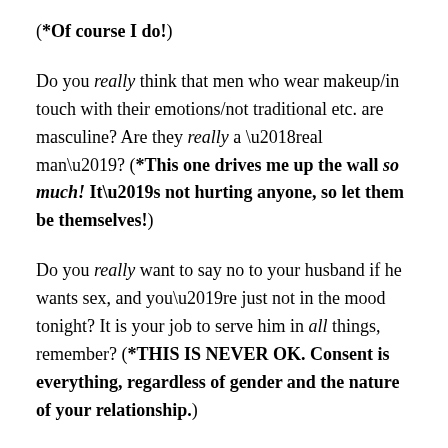(*Of course I do!)
Do you really think that men who wear makeup/in touch with their emotions/not traditional etc. are masculine? Are they really a ‘real man’? (*This one drives me up the wall so much! It’s not hurting anyone, so let them be themselves!)
Do you really want to say no to your husband if he wants sex, and you’re just not in the mood tonight? It is your job to serve him in all things, remember? (*THIS IS NEVER OK. Consent is everything, regardless of gender and the nature of your relationship.)
It’s important to be discerning if you’re looking online